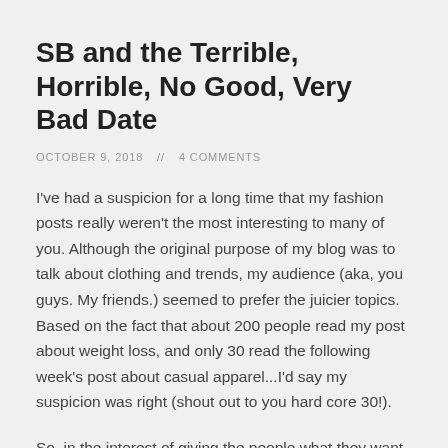SB and the Terrible, Horrible, No Good, Very Bad Date
OCTOBER 9, 2018    4 COMMENTS
I've had a suspicion for a long time that my fashion posts really weren't the most interesting to many of you. Although the original purpose of my blog was to talk about clothing and trends, my audience (aka, you guys. My friends.) seemed to prefer the juicier topics. Based on the fact that about 200 people read my post about weight loss, and only 30 read the following week's post about casual apparel...I'd say my suspicion was right (shout out to you hard core 30!).
So, in the interest of giving the people what they want,